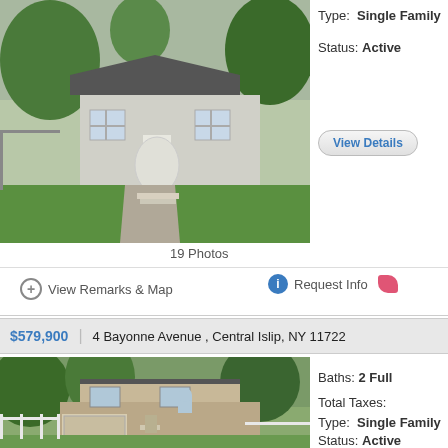[Figure (photo): Single family home with gray siding, white door, green lawn, top portion visible]
19 Photos
Type: Single Family
Status: Active
View Details
View Remarks & Map
Request Info
$579,900 | 4 Bayonne Avenue , Central Islip, NY 11722
[Figure (photo): Two-story single family home with tan/beige siding, garage, driveway, green trees and lawn]
Baths: 2 Full
Total Taxes:
Type: Single Family
Status: Active
View Details